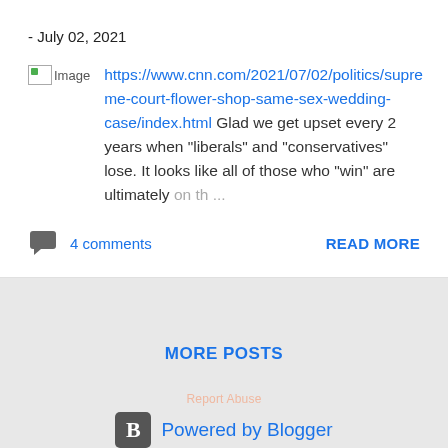- July 02, 2021
Image https://www.cnn.com/2021/07/02/politics/supreme-court-flower-shop-same-sex-wedding-case/index.html Glad we get upset every 2 years when "liberals" and "conservatives" lose. It looks like all of those who "win" are ultimately on th ...
4 comments
READ MORE
MORE POSTS
[Figure (logo): Powered by Blogger logo with B icon]
Powered by Blogger
Theme images by Michael Elkan